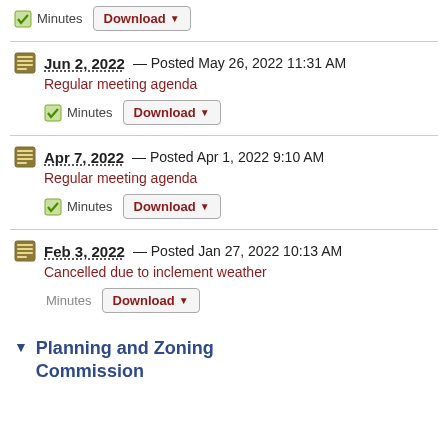Minutes | Download
Jun 2, 2022 — Posted May 26, 2022 11:31 AM
Regular meeting agenda
Minutes | Download
Apr 7, 2022 — Posted Apr 1, 2022 9:10 AM
Regular meeting agenda
Minutes | Download
Feb 3, 2022 — Posted Jan 27, 2022 10:13 AM
Cancelled due to inclement weather
Minutes | Download
Planning and Zoning Commission